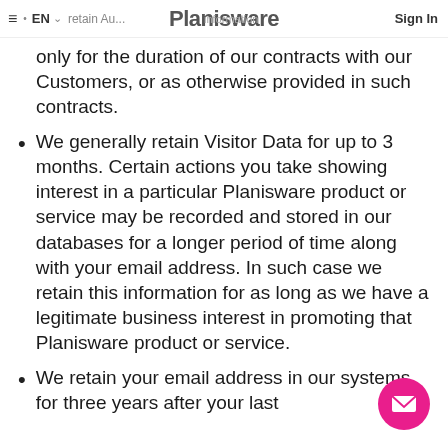≡ EN ∨  We retain Au... information  Planisware  Sign In
only for the duration of our contracts with our Customers, or as otherwise provided in such contracts.
We generally retain Visitor Data for up to 3 months. Certain actions you take showing interest in a particular Planisware product or service may be recorded and stored in our databases for a longer period of time along with your email address. In such case we retain this information for as long as we have a legitimate business interest in promoting that Planisware product or service.
We retain your email address in our systems for three years after your last